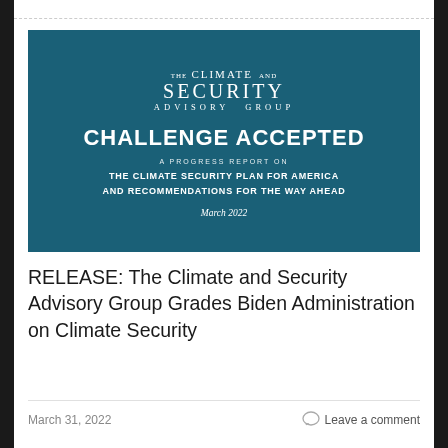[Figure (illustration): Cover image of the Climate and Security Advisory Group report titled 'Challenge Accepted: A Progress Report on The Climate Security Plan for America and Recommendations for the Way Ahead, March 2022' on a dark teal background.]
RELEASE: The Climate and Security Advisory Group Grades Biden Administration on Climate Security
March 31, 2022
Leave a comment